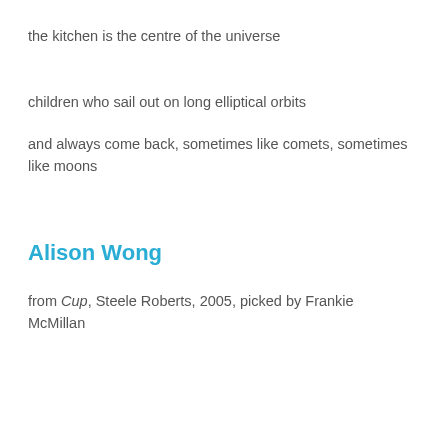the kitchen is the centre of the universe
children who sail out on long elliptical orbits
and always come back, sometimes like comets, sometimes like moons
Alison Wong
from Cup, Steele Roberts, 2005, picked by Frankie McMillan